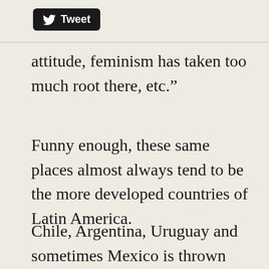[Figure (logo): Twitter Tweet button — black rounded rectangle with white Twitter bird icon and 'Tweet' text]
attitude, feminism has taken too much root there, etc.”
Funny enough, these same places almost always tend to be the more developed countries of Latin America.
Chile, Argentina, Uruguay and sometimes Mexico is thrown into the mix just because it